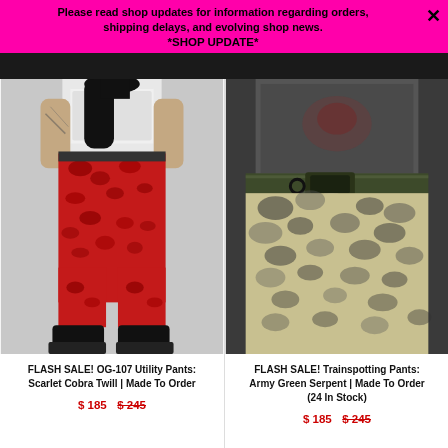Please read shop updates for information regarding orders, shipping delays, and evolving shop news.
*SHOP UPDATE*
[Figure (photo): Model wearing red/scarlet snake print cropped utility pants, viewed from behind, with black boots. Gray background.]
[Figure (photo): Close-up of army green serpent print pants with dark green belt and zipper detail. Dark background, model wearing gray graphic tee.]
FLASH SALE! OG-107 Utility Pants: Scarlet Cobra Twill | Made To Order
$ 185  $245
FLASH SALE! Trainspotting Pants: Army Green Serpent | Made To Order (24 In Stock)
$ 185  $245